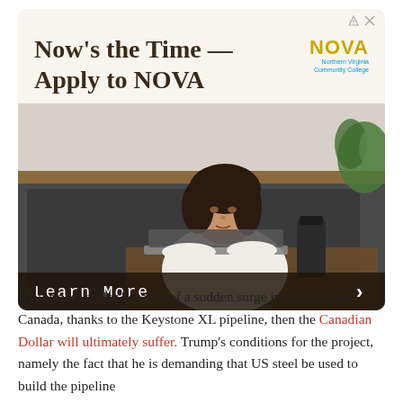[Figure (illustration): Advertisement banner for NOVA (Northern Virginia Community College). Top section has cream/beige background with bold headline 'Now's the Time — Apply to NOVA' and NOVA logo in gold/teal. Bottom section shows a photo of a young woman working on a laptop in a cafe setting, with a dark overlay bar at the bottom reading 'Learn More' with a right arrow.]
If oil prices suffer because of a sudden surge in supply from Canada, thanks to the Keystone XL pipeline, then the Canadian Dollar will ultimately suffer. Trump's conditions for the project, namely the fact that he is demanding that US steel be used to build the pipeline